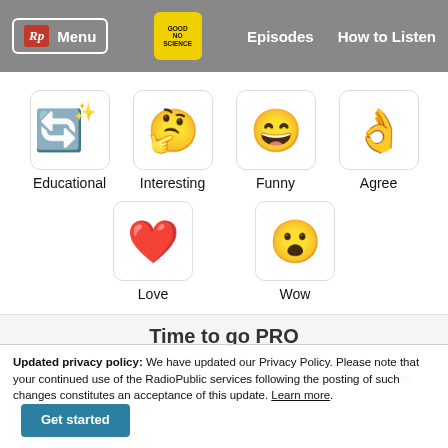Rp Menu | Good No Science | Episodes | How to Listen
[Figure (infographic): Six emoji reaction buttons in a grid: Educational (recycle/star emoji), Interesting (thinking face), Funny (laughing face), Agree (OK hand), Love (red heart), Wow (surprised face)]
Time to go PRO
Savvy podcasters use RadioPublic PRO to amplify, market, and measure their shows through enhanced embeds, smart sharing, and calls to action that convert.
Updated privacy policy: We have updated our Privacy Policy. Please note that your continued use of the RadioPublic services following the posting of such changes constitutes an acceptance of this update. Learn more.
Get started